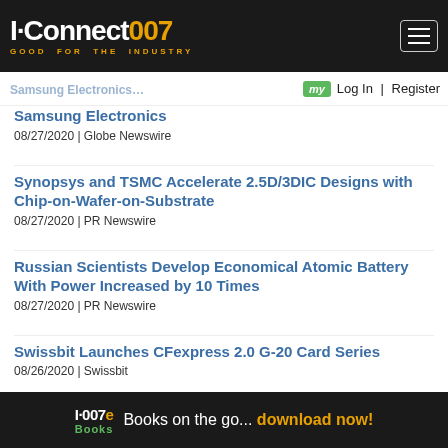I-Connect007 GOOD FOR THE INDUSTRY
Samsung Electronics
08/27/2020 | Globe Newswire
Synopsys and TSMC Accelerate 2.5D/3DIC Designs with Chip-on-Wafer-on-Substrate
08/27/2020 | PR Newswire
Russian Scientists Develop Economical Atomic Battery With Power Increased by 10 Times
08/27/2020 | PR Newswire
Swissbit Launches CFexpress 2.0 G-20 Card Series
08/26/2020 | Swissbit
Advertisement
American Standard Circuits is and always has been an industry leader in the fabrication of flex and rigid
I-007e Books  Books on the go... download now!